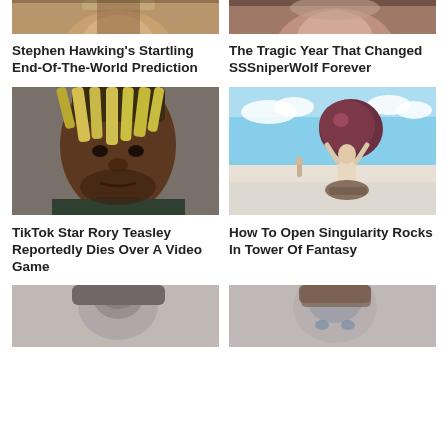[Figure (photo): Partial top of Stephen Hawking photo (cropped head)]
[Figure (photo): Partial top of SSSniperWolf photo (cropped head)]
Stephen Hawking's Startling End-Of-The-World Prediction
The Tragic Year That Changed SSSniperWolf Forever
[Figure (photo): Photo of TikTok star Rory Teasley, a young man with blond dreadlocks]
[Figure (photo): Illustration of a figure holding a large boulder, desert landscape background - Tower of Fantasy game]
TikTok Star Rory Teasley Reportedly Dies Over A Video Game
How To Open Singularity Rocks In Tower Of Fantasy
[Figure (photo): Partial bottom photo of a person (cropped, dark hair)]
[Figure (photo): Partial bottom photo of a person (cropped, brown hair, light eyes)]